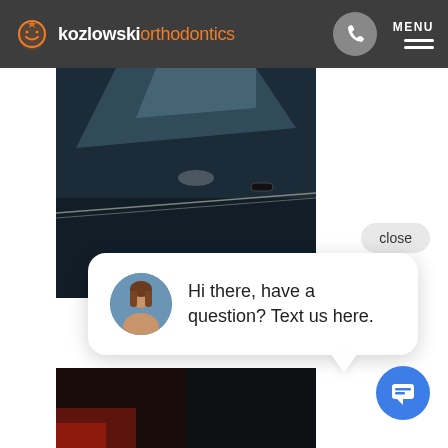kozlowski orthodontics
[Figure (photo): Dark colored car hood/roof close-up photograph]
close
[Figure (screenshot): Chat widget popup with avatar photo of a woman and text: Hi there, have a question? Text us here.]
Hi there, have a question? Text us here.
[Figure (photo): Second dark car photograph partially visible at bottom]